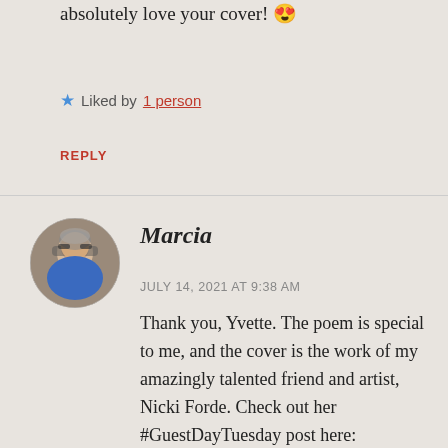absolutely love your cover! 😍
★ Liked by 1 person
REPLY
[Figure (photo): Circular avatar photo of Marcia, an older woman with short gray hair and glasses, wearing a blue top, outdoors with greenery in background.]
Marcia
JULY 14, 2021 AT 9:38 AM
Thank you, Yvette. The poem is special to me, and the cover is the work of my amazingly talented friend and artist, Nicki Forde. Check out her #GuestDayTuesday post here: https://marciamearawrites.com/2021